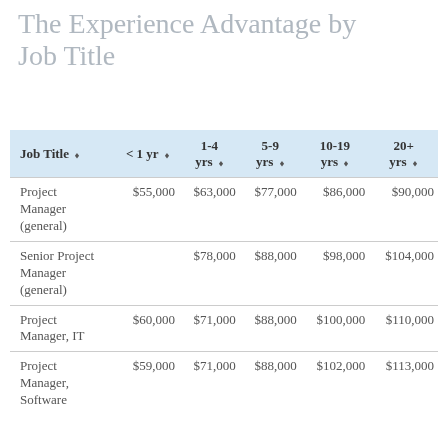The Experience Advantage by Job Title
| Job Title | < 1 yr | 1-4 yrs | 5-9 yrs | 10-19 yrs | 20+ yrs |
| --- | --- | --- | --- | --- | --- |
| Project Manager (general) | $55,000 | $63,000 | $77,000 | $86,000 | $90,000 |
| Senior Project Manager (general) |  | $78,000 | $88,000 | $98,000 | $104,000 |
| Project Manager, IT | $60,000 | $71,000 | $88,000 | $100,000 | $110,000 |
| Project Manager, Software | $59,000 | $71,000 | $88,000 | $102,000 | $113,000 |